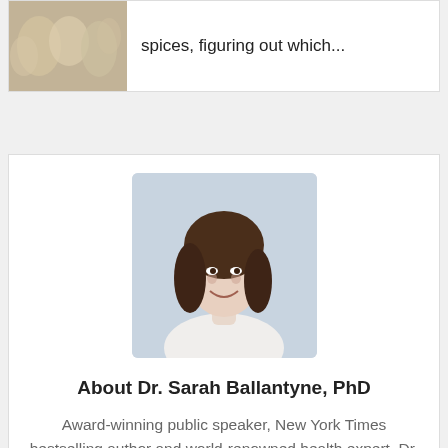[Figure (photo): Food/spices image thumbnail in a card]
spices, figuring out which...
[Figure (photo): Headshot of Dr. Sarah Ballantyne, PhD — smiling woman with brown hair]
About Dr. Sarah Ballantyne, PhD
Award-winning public speaker, New York Times bestselling author and world-renowned health expert, Dr. Sarah Ballantyne, PhD (aka The Paleo Mom) believes the key to reversing the current epidemics of chronic disease is scientific literacy. She creates educational resources